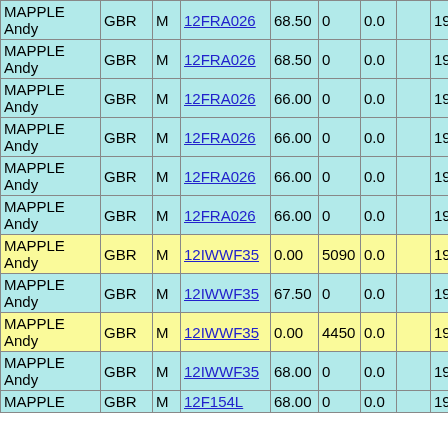| Name | Nat | Sex | Code | Val1 | Val2 | Val3 | Val4 | Year | X |
| --- | --- | --- | --- | --- | --- | --- | --- | --- | --- |
| MAPPLE Andy | GBR | M | 12FRA026 | 68.50 | 0 | 0.0 |  | 1962 | L |
| MAPPLE Andy | GBR | M | 12FRA026 | 68.50 | 0 | 0.0 |  | 1962 | L |
| MAPPLE Andy | GBR | M | 12FRA026 | 66.00 | 0 | 0.0 |  | 1962 | L |
| MAPPLE Andy | GBR | M | 12FRA026 | 66.00 | 0 | 0.0 |  | 1962 | L |
| MAPPLE Andy | GBR | M | 12FRA026 | 66.00 | 0 | 0.0 |  | 1962 | L |
| MAPPLE Andy | GBR | M | 12FRA026 | 66.00 | 0 | 0.0 |  | 1962 | L |
| MAPPLE Andy | GBR | M | 12IWWF35 | 0.00 | 5090 | 0.0 |  | 1962 | R |
| MAPPLE Andy | GBR | M | 12IWWF35 | 67.50 | 0 | 0.0 |  | 1962 | R |
| MAPPLE Andy | GBR | M | 12IWWF35 | 0.00 | 4450 | 0.0 |  | 1962 | R |
| MAPPLE Andy | GBR | M | 12IWWF35 | 68.00 | 0 | 0.0 |  | 1962 | R |
| MAPPLE | GBR | M | 12F154L | 68.00 | 0 | 0.0 |  | 1962 |  |